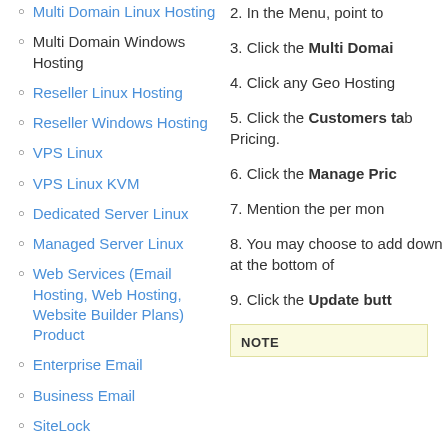Multi Domain Linux Hosting
Multi Domain Windows Hosting
Reseller Linux Hosting
Reseller Windows Hosting
VPS Linux
VPS Linux KVM
Dedicated Server Linux
Managed Server Linux
Web Services (Email Hosting, Web Hosting, Website Builder Plans) Product
Enterprise Email
Business Email
SiteLock
CodeGuard
SSL Certificate
Combo Plans
2. In the Menu, point to
3. Click the Multi Domai
4. Click any Geo Hosting
5. Click the Customers tab Pricing.
6. Click the Manage Pric
7. Mention the per mon
8. You may choose to add down at the bottom of
9. Click the Update butt
NOTE